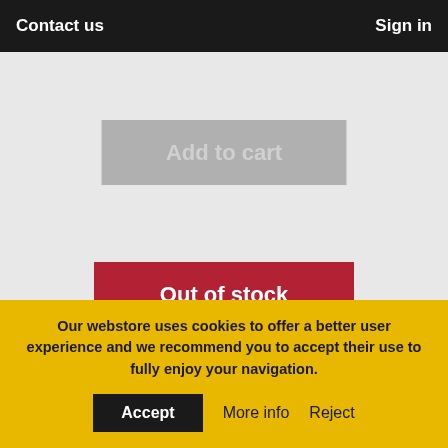Contact us    Sign in
[Figure (screenshot): Gray 'Add to cart' button with light gray text on a light gray background]
[Figure (screenshot): Red 'Out of stock' button with white bold text on a crimson red background]
[Figure (screenshot): Partial product image showing a white container/jug with a gray rounded handle visible at bottom, on a light blue-white gradient background]
Our webstore uses cookies to offer a better user experience and we recommend you to accept their use to fully enjoy your navigation.
Accept   More info   Reject